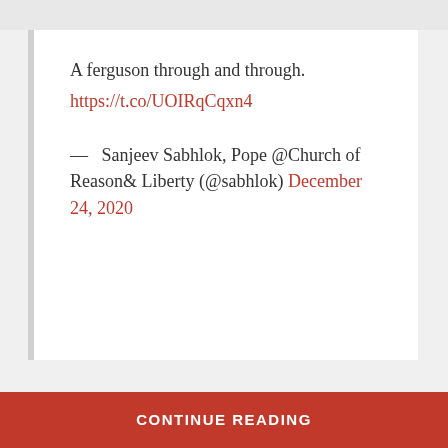A ferguson through and through. https://t.co/UOIRqCqxn4
— Sanjeev Sabhlok, Pope @Church of Reason& Liberty (@sabhlok) December 24, 2020
CONTINUE READING